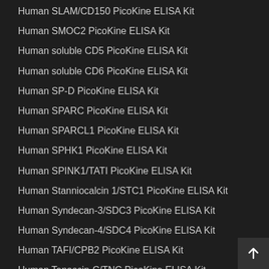Human SLAM/CD150 PicoKine ELISA Kit
Human SMOC2 PicoKine ELISA Kit
Human soluble CD5 PicoKine ELISA Kit
Human soluble CD6 PicoKine ELISA Kit
Human SP-D PicoKine ELISA Kit
Human SPARC PicoKine ELISA Kit
Human SPARCL1 PicoKine ELISA Kit
Human SPHK1 PicoKine ELISA Kit
Human SPINK1/TATI PicoKine ELISA Kit
Human Stanniocalcin 1/STC1 PicoKine ELISA Kit
Human Syndecan-3/SDC3 PicoKine ELISA Kit
Human Syndecan-4/SDC4 PicoKine ELISA Kit
Human TAFI/CPB2 PicoKine ELISA Kit
Human Tenascin-C/TNC PicoKine ELISA Kit
Human Tetranectin/CLEC3B PicoKine ELISA Kit
Human TFF1 PicoKine ELISA Kit
Human TFF2 PicoKine ELISA Kit
Human TFF3 PicoKine ELISA Kit